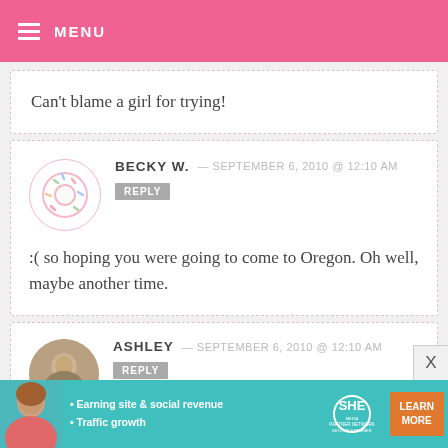MENU
Can't blame a girl for trying!
BECKY W. — SEPTEMBER 6, 2010 @ 12:10 AM
REPLY
:( so hoping you were going to come to Oregon. Oh well, maybe another time.
ASHLEY — SEPTEMBER 6, 2010 @ 12:10 AM REPLY
[Figure (other): Advertisement banner for SHE Partner Network with bullets: Earning site & social revenue, Traffic growth. Text: LEARN MORE, BECOME A MEMBER]